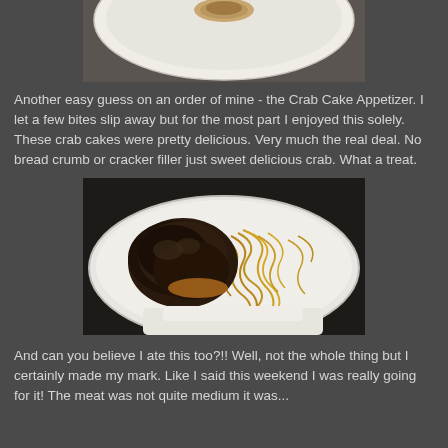[Figure (photo): Top portion of a white plate with food (crab cake appetizer), cropped at top showing bottom part of plate]
Another easy guess on an order of mine - the Crab Cake Appetizer. I let a few bites slip away but for the most part I enjoyed this solely. These crab cakes were pretty delicious. Very much the real deal. No bread crumb or cracker filler just sweet delicious crab. What a treat.
[Figure (photo): A white plate with dark braised meat and golden-brown noodles/pasta, photographed from above on a dark background]
And can you believe I ate this too?!! Well, not the whole thing but I certainly made my mark. Like I said this weekend I was really going for it! The meat was not quite medium it was...